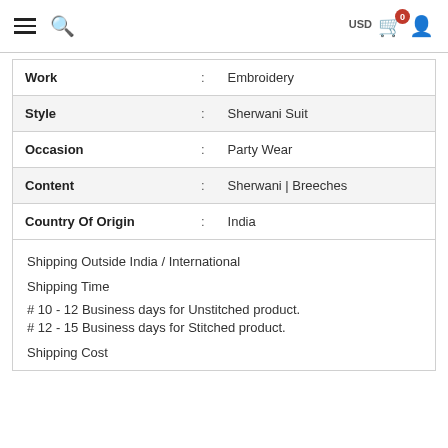≡ 🔍   USD 0 (cart)  👤
| Attribute | : | Value |
| --- | --- | --- |
| Work | : | Embroidery |
| Style | : | Sherwani Suit |
| Occasion | : | Party Wear |
| Content | : | Sherwani | Breeches |
| Country Of Origin | : | India |
Shipping Outside India / International
Shipping Time
# 10 - 12 Business days for Unstitched product.
# 12 - 15 Business days for Stitched product.
Shipping Cost